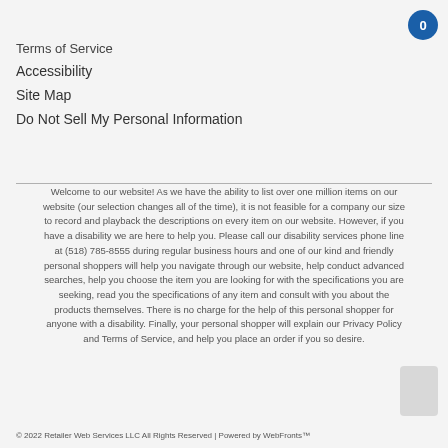0
Terms of Service
Accessibility
Site Map
Do Not Sell My Personal Information
Welcome to our website! As we have the ability to list over one million items on our website (our selection changes all of the time), it is not feasible for a company our size to record and playback the descriptions on every item on our website. However, if you have a disability we are here to help you. Please call our disability services phone line at (518) 785-8555 during regular business hours and one of our kind and friendly personal shoppers will help you navigate through our website, help conduct advanced searches, help you choose the item you are looking for with the specifications you are seeking, read you the specifications of any item and consult with you about the products themselves. There is no charge for the help of this personal shopper for anyone with a disability. Finally, your personal shopper will explain our Privacy Policy and Terms of Service, and help you place an order if you so desire.
© 2022 Retailer Web Services LLC All Rights Reserved | Powered by WebFronts™